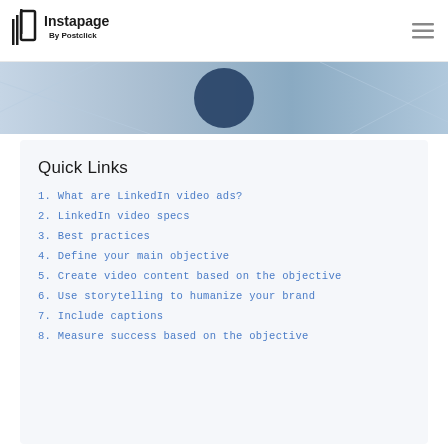Instapage By Postclick
[Figure (photo): Partial image strip at top of page with blue/grey tones and a partial circular logo element]
Quick Links
1. What are LinkedIn video ads?
2. LinkedIn video specs
3. Best practices
4. Define your main objective
5. Create video content based on the objective
6. Use storytelling to humanize your brand
7. Include captions
8. Measure success based on the objective